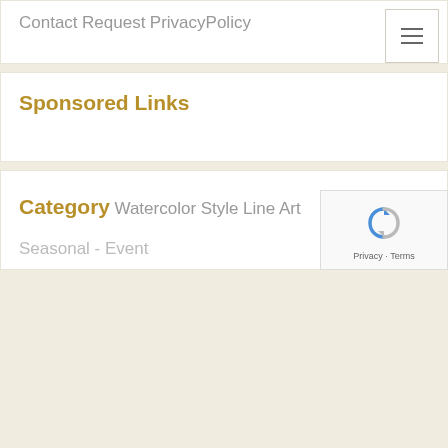Contact
Request
PrivacyPolicy
Sponsored Links
Category
Watercolor Style
Line Art
Seasonal - Event